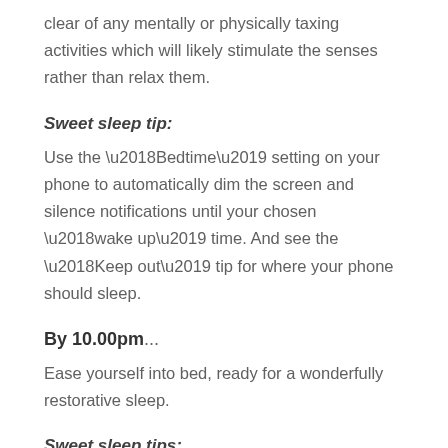clear of any mentally or physically taxing activities which will likely stimulate the senses rather than relax them.
Sweet sleep tip:
Use the ‘Bedtime’ setting on your phone to automatically dim the screen and silence notifications until your chosen ‘wake up’ time. And see the ‘Keep out’ tip for where your phone should sleep.
By 10.00pm...
Ease yourself into bed, ready for a wonderfully restorative sleep.
Sweet sleep tips:
Focus on your natural breath to help to